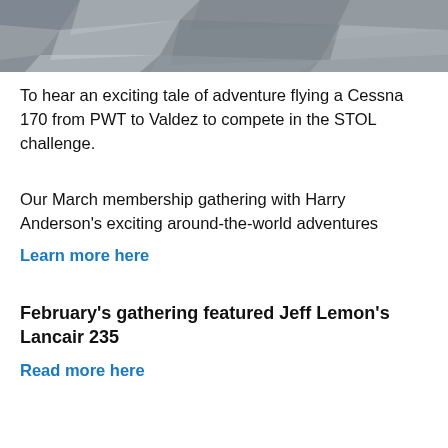[Figure (photo): Aerial or landscape photo showing rocky/textured grey surface, cropped to top strip of page]
To hear an exciting tale of adventure flying a Cessna 170 from PWT to Valdez to compete in the STOL challenge.
Our March membership gathering with Harry Anderson's exciting around-the-world adventures
Learn more here
February's gathering featured Jeff Lemon's Lancair 235
Read more here